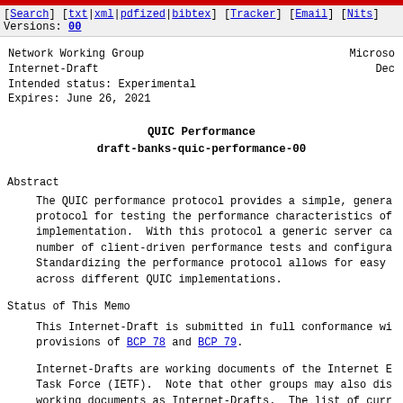[Search] [txt|xml|pdfized|bibtex] [Tracker] [Email] [Nits] Versions: 00
Network Working Group
Internet-Draft                                                    Microsoft
Intended status: Experimental                                        Dec
Expires: June 26, 2021
QUIC Performance
draft-banks-quic-performance-00
Abstract
The QUIC performance protocol provides a simple, genera protocol for testing the performance characteristics of implementation.  With this protocol a generic server ca number of client-driven performance tests and configura Standardizing the performance protocol allows for easy across different QUIC implementations.
Status of This Memo
This Internet-Draft is submitted in full conformance wi provisions of BCP 78 and BCP 79.
Internet-Drafts are working documents of the Internet E Task Force (IETF).  Note that other groups may also dis working documents as Internet-Drafts.  The list of curr